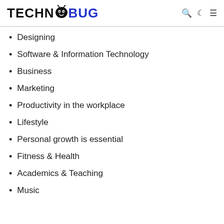TECHNOBUG
Designing
Software & Information Technology
Business
Marketing
Productivity in the workplace
Lifestyle
Personal growth is essential
Fitness & Health
Academics & Teaching
Music